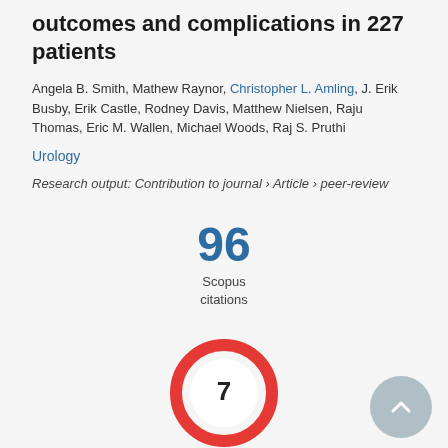outcomes and complications in 227 patients
Angela B. Smith, Mathew Raynor, Christopher L. Amling, J. Erik Busby, Erik Castle, Rodney Davis, Matthew Nielsen, Raju Thomas, Eric M. Wallen, Michael Woods, Raj S. Pruthi
Urology
Research output: Contribution to journal › Article › peer-review
[Figure (infographic): Scopus citations badge showing 96 citations]
[Figure (infographic): Altmetric donut badge showing score of 7 in red ring]